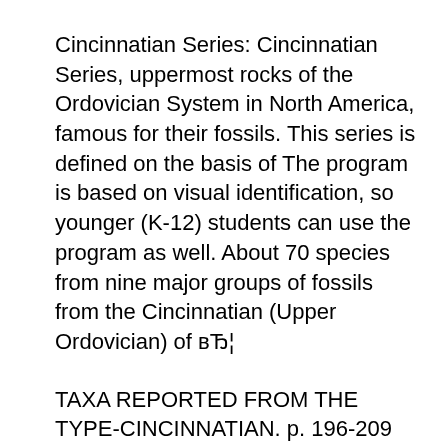Cincinnatian Series: Cincinnatian Series, uppermost rocks of the Ordovician System in North America, famous for their fossils. This series is defined on the basis of The program is based on visual identification, so younger (K-12) students can use the program as well. About 70 species from nine major groups of fossils from the Cincinnatian (Upper Ordovician) of вЂ¦
TAXA REPORTED FROM THE TYPE-CINCINNATIAN. p. 196-209 IN Fossils of Ohio (Feldmann An Elementary Guide to the Ordovician Rocks and Fossils of the Wildlife Species Guide; Fossils of Ohio A great tool to help identify fossils found